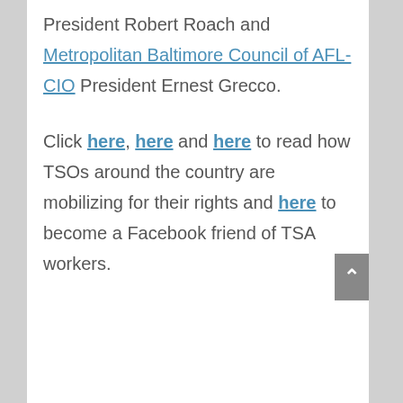President Robert Roach and Metropolitan Baltimore Council of AFL-CIO President Ernest Grecco.
Click here, here and here to read how TSOs around the country are mobilizing for their rights and here to become a Facebook friend of TSA workers.